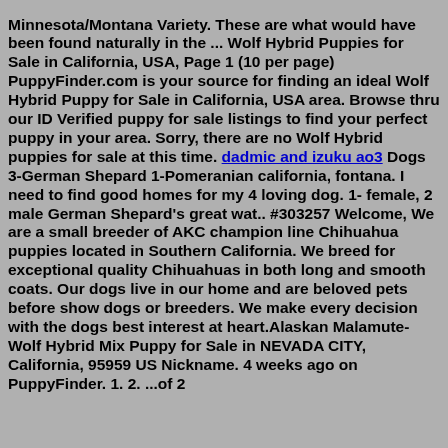Minnesota/Montana Variety. These are what would have been found naturally in the ... Wolf Hybrid Puppies for Sale in California, USA, Page 1 (10 per page) PuppyFinder.com is your source for finding an ideal Wolf Hybrid Puppy for Sale in California, USA area. Browse thru our ID Verified puppy for sale listings to find your perfect puppy in your area. Sorry, there are no Wolf Hybrid puppies for sale at this time. dadmic and izuku ao3 Dogs 3-German Shepard 1-Pomeranian california, fontana. I need to find good homes for my 4 loving dog. 1- female, 2 male German Shepard's great wat.. #303257 Welcome, We are a small breeder of AKC champion line Chihuahua puppies located in Southern California. We breed for exceptional quality Chihuahuas in both long and smooth coats. Our dogs live in our home and are beloved pets before show dogs or breeders. We make every decision with the dogs best interest at heart.Alaskan Malamute-Wolf Hybrid Mix Puppy for Sale in NEVADA CITY, California, 95959 US Nickname. 4 weeks ago on PuppyFinder. 1. 2. ...of 2